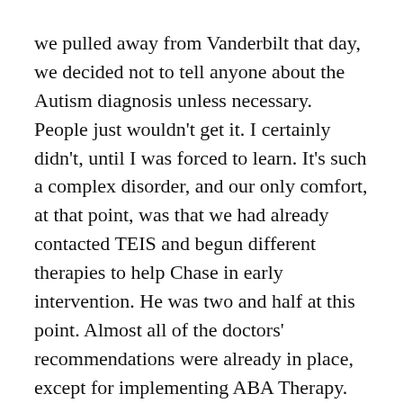we pulled away from Vanderbilt that day, we decided not to tell anyone about the Autism diagnosis unless necessary. People just wouldn't get it. I certainly didn't, until I was forced to learn. It's such a complex disorder, and our only comfort, at that point, was that we had already contacted TEIS and begun different therapies to help Chase in early intervention. He was two and half at this point. Almost all of the doctors' recommendations were already in place, except for implementing ABA Therapy.
My husband, Chase's, first comment once we were back in the car was “We can't say in Jackson.” There aren't enough resources and